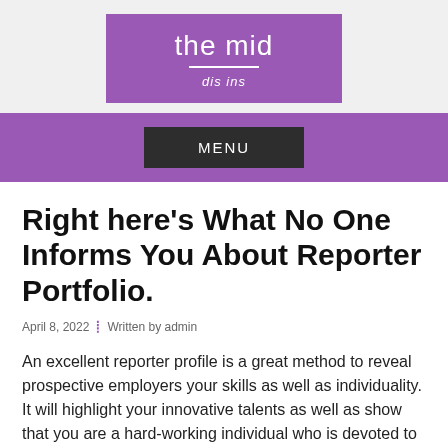[Figure (logo): Purple logo box with 'the mid' in white text and 'dis ins' in italic white below a horizontal rule]
MENU
Right here's What No One Informs You About Reporter Portfolio.
April 8, 2022  ⁞  Written by admin
An excellent reporter profile is a great method to reveal prospective employers your skills as well as individuality. It will highlight your innovative talents as well as show that you are a hard-working individual who is devoted to the craft. While